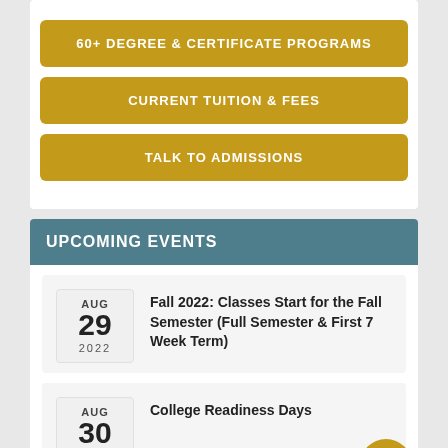60+ DEGREE & CERTIFICATE PROGRAMS
CURRENT TUITION & FEES
TALK TO ADMISSIONS
UPCOMING EVENTS
AUG 29 2022 — Fall 2022: Classes Start for the Fall Semester (Full Semester & First 7 Week Term)
AUG 30 2022 — College Readiness Days